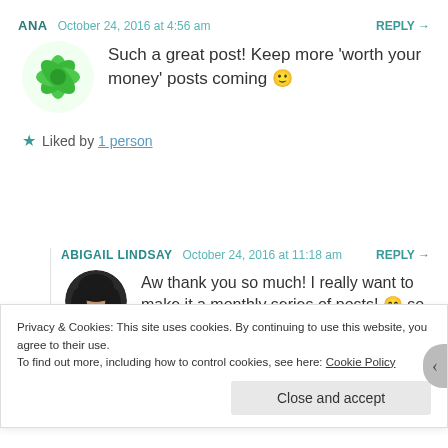ANA   October 24, 2016 at 4:56 am   REPLY →
Such a great post! Keep more 'worth your money' posts coming 🙂
★ Liked by 1 person
ABIGAIL LINDSAY   October 24, 2016 at 11:18 am   REPLY →
Aw thank you so much! I really want to make it a monthly series of posts! 😊 so happy you enjoyed!
Privacy & Cookies: This site uses cookies. By continuing to use this website, you agree to their use.
To find out more, including how to control cookies, see here: Cookie Policy
Close and accept